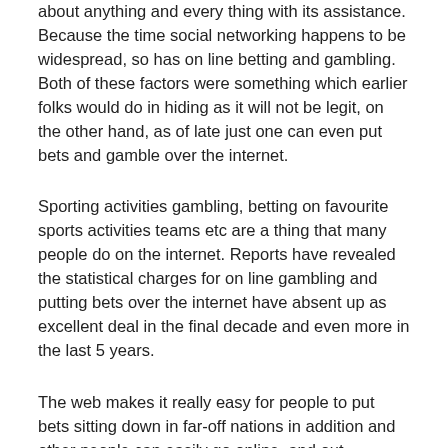about anything and every thing with its assistance. Because the time social networking happens to be widespread, so has on line betting and gambling. Both of these factors were something which earlier folks would do in hiding as it will not be legit, on the other hand, as of late just one can even put bets and gamble over the internet.
Sporting activities gambling, betting on favourite sports activities teams etc are a thing that many people do on the internet. Reports have revealed the statistical charges for on line gambling and putting bets over the internet have absent up as excellent deal in the final decade and even more in the last 5 years.
The web makes it really easy for people to put bets sitting down in far-off nations in addition and other people can easily go online, and out approximately they want, at stake. A single can find a quantity of websites that inspire these types of on the net betting and video games, and there are many folks who like frequenting them due to significant